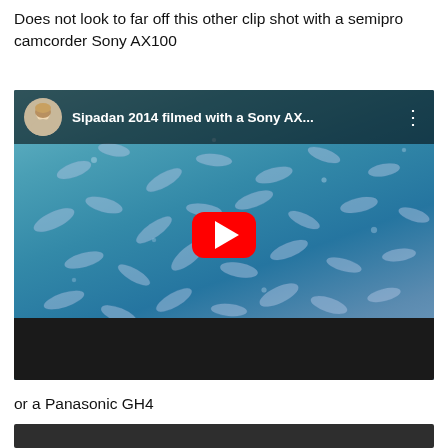Does not look to far off this other clip shot with a semipro camcorder Sony AX100
[Figure (screenshot): YouTube video thumbnail showing underwater footage of a school of fish at Sipadan 2014, filmed with a Sony AX100. Title reads 'Sipadan 2014 filmed with a Sony AX...' with avatar of a woman and YouTube play button.]
or a Panasonic GH4
[Figure (screenshot): Dark/black video thumbnail, beginning of another embedded video player.]